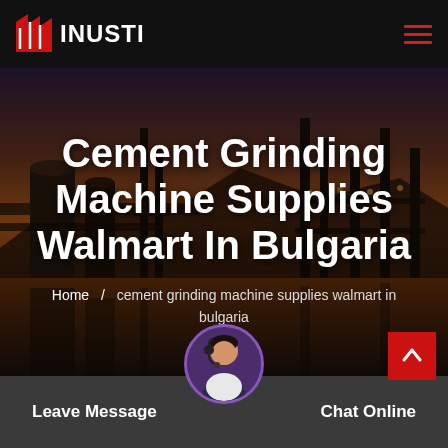INUSTI
Cement Grinding Machine Supplies Walmart In Bulgaria
Home / cement grinding machine supplies walmart in bulgaria
[Figure (screenshot): Industrial facility with silos and towers at dusk, with purple/orange sky and reflections in water]
Leave Message
Chat Online
[Figure (photo): Customer service representative with headset]
Stained Glass Supplies, Tools And Kits at shi...